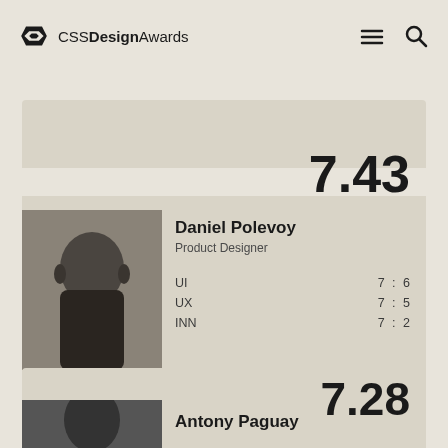CSS Design Awards
[Figure (screenshot): CSS Design Awards website screenshot showing designer rankings. Daniel Polevoy, Product Designer, score 7.43 (UI: 7.6, UX: 7.5, INN: 7.2). Antony Paguay listed below with score 7.28.]